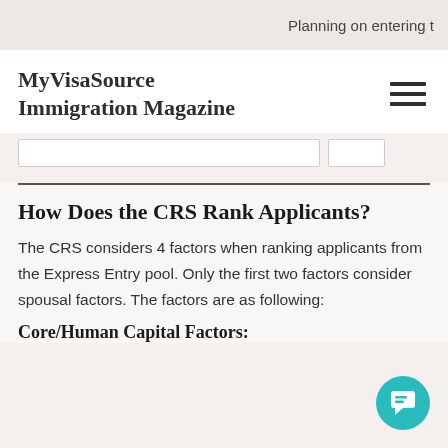Planning on entering t
MyVisaSource Immigration Magazine
How Does the CRS Rank Applicants?
The CRS considers 4 factors when ranking applicants from the Express Entry pool. Only the first two factors consider spousal factors. The factors are as following:
Core/Human Capital Factors: